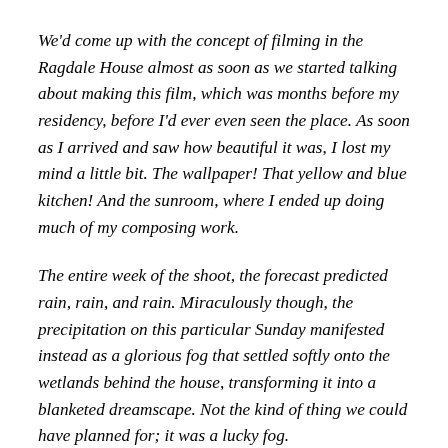We'd come up with the concept of filming in the Ragdale House almost as soon as we started talking about making this film, which was months before my residency, before I'd ever even seen the place. As soon as I arrived and saw how beautiful it was, I lost my mind a little bit. The wallpaper! That yellow and blue kitchen! And the sunroom, where I ended up doing much of my composing work.
The entire week of the shoot, the forecast predicted rain, rain, and rain. Miraculously though, the precipitation on this particular Sunday manifested instead as a glorious fog that settled softly onto the wetlands behind the house, transforming it into a blanketed dreamscape. Not the kind of thing we could have planned for; it was a lucky fog.
I wish I'd figured out how to write something appropriate